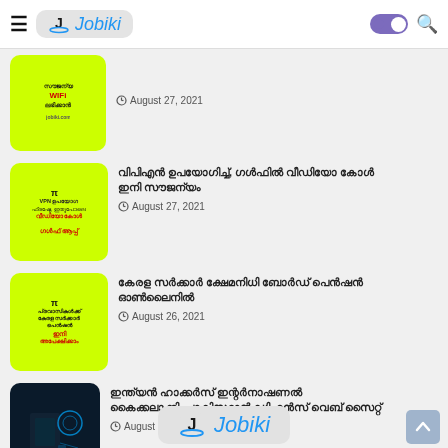Jobiki
August 27, 2021
VPN ഉപയോഗിച്ച്, വീഡിയോ കോൾ ഗൾഫ് ആപ്പ് – August 27, 2021
പ്രവാസികൾക്ക് കേരള സർക്കാർ പെൻഷൻ ഇനി അപേക്ഷിക്കാം – August 26, 2021
സൈബർ ക്രൈം, August 21, 2021
Jobiki